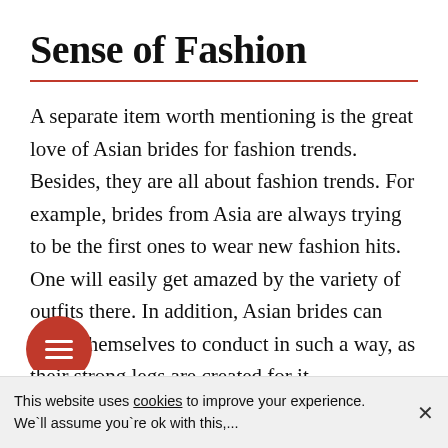Sense of Fashion
A separate item worth mentioning is the great love of Asian brides for fashion trends. Besides, they are all about fashion trends. For example, brides from Asia are always trying to be the first ones to wear new fashion hits. One will easily get amazed by the variety of outfits there. In addition, Asian brides can allow themselves to conduct in such a way, as their strong legs are created for it.
This website uses cookies to improve your experience. We`ll assume you`re ok with this,...